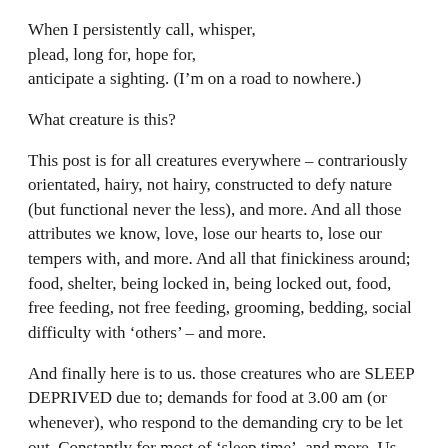When I persistently call, whisper,
plead, long for, hope for,
anticipate a sighting. (I'm on a road to nowhere.)
What creature is this?
This post is for all creatures everywhere – contrariously orientated, hairy, not hairy, constructed to defy nature (but functional never the less), and more. And all those attributes we know, love, lose our hearts to, lose our tempers with, and more. And all that finickiness around; food, shelter, being locked in, being locked out, food, free feeding, not free feeding, grooming, bedding, social difficulty with 'others' – and more.
And finally here is to us. those creatures who are SLEEP DEPRIVED due to; demands for food at 3.00 am (or whenever), who respond to the demanding cry to be let out. Constantly for most of 'sleep time', and more. Us who lay awake at night listening to the rain and worrying ourselves